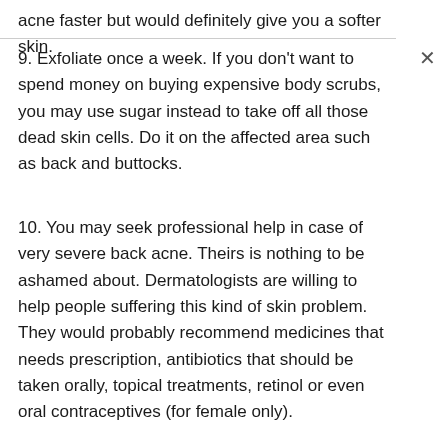acne faster but would definitely give you a softer skin.
9. Exfoliate once a week. If you don't want to spend money on buying expensive body scrubs, you may use sugar instead to take off all those dead skin cells. Do it on the affected area such as back and buttocks.
10. You may seek professional help in case of very severe back acne. Theirs is nothing to be ashamed about. Dermatologists are willing to help people suffering this kind of skin problem. They would probably recommend medicines that needs prescription, antibiotics that should be taken orally, topical treatments, retinol or even oral contraceptives (for female only).